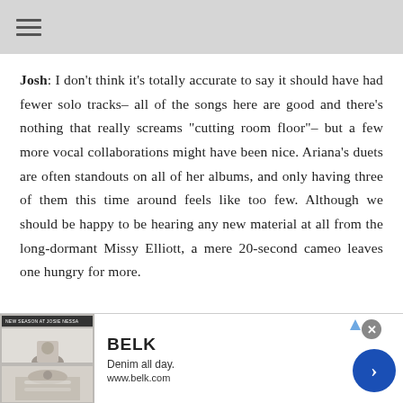Josh: I don't think it's totally accurate to say it should have had fewer solo tracks– all of the songs here are good and there's nothing that really screams "cutting room floor"– but a few more vocal collaborations might have been nice. Ariana's duets are often standouts on all of her albums, and only having three of them this time around feels like too few. Although we should be happy to be hearing any new material at all from the long-dormant Missy Elliott, a mere 20-second cameo leaves one hungry for more.
[Figure (screenshot): Advertisement banner for BELK featuring 'Denim all day.' tagline and www.belk.com URL, with a blue circular arrow button and a close (x) button.]